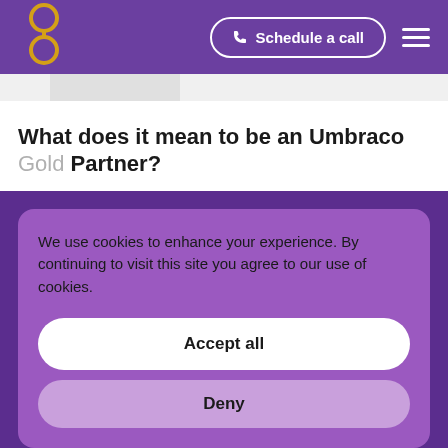Schedule a call
[Figure (logo): Umbraco logo — stylized glasses icon in gold/yellow outline on purple background]
What does it mean to be an Umbraco Gold Partner?
We use cookies to enhance your experience. By continuing to visit this site you agree to our use of cookies.
Accept all
Deny